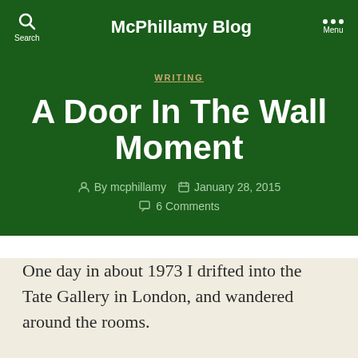McPhillamy Blog
WRITING
A Door In The Wall Moment
By mcphillamy   January 28, 2015   6 Comments
One day in about 1973 I drifted into the Tate Gallery in London, and wandered around the rooms.